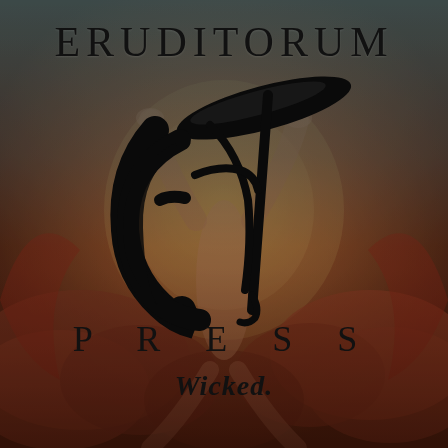[Figure (illustration): Book cover for Eruditorum Press featuring a classical painting of a muscular figure (Blakean imagery) with arms raised and legs spread, set against a warm reddish-brown and golden background with swirling clouds and organic forms. The background has a dark teal/grey gradient overlay at the top and reddish hues at the bottom. An ornate calligraphic 'EP' logo monogram in black is centered over the figure.]
ERUDITORUM
P R E S S
Wicked.